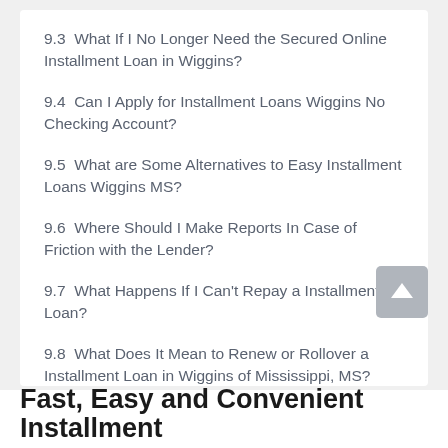9.3  What If I No Longer Need the Secured Online Installment Loan in Wiggins?
9.4  Can I Apply for Installment Loans Wiggins No Checking Account?
9.5  What are Some Alternatives to Easy Installment Loans Wiggins MS?
9.6  Where Should I Make Reports In Case of Friction with the Lender?
9.7  What Happens If I Can't Repay a Installment Loan?
9.8  What Does It Mean to Renew or Rollover a Installment Loan in Wiggins of Mississippi, MS?
Fast, Easy and Convenient Installment